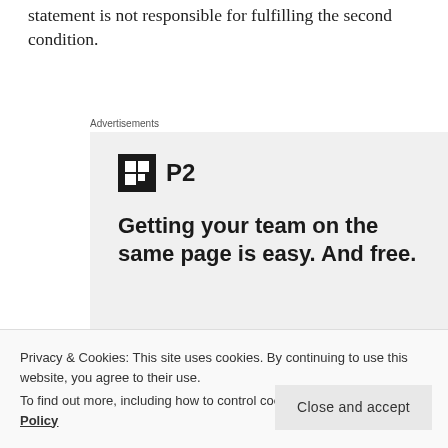statement is not responsible for fulfilling the second condition.
Advertisements
[Figure (infographic): P2 advertisement banner with logo, headline 'Getting your team on the same page is easy. And free.' and circular avatar photos at the bottom]
Privacy & Cookies: This site uses cookies. By continuing to use this website, you agree to their use.
To find out more, including how to control cookies, see here: Cookie Policy